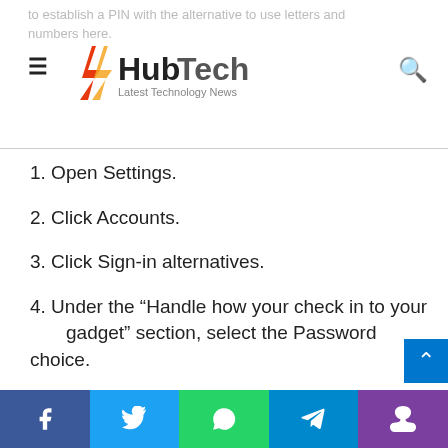HubTech — Latest Technology News
to establish a PIN with the alternative to use letters and numbers here.
1. Open Settings.
2. Click Accounts.
3. Click Sign-in alternatives.
4. Under the “Handle how your check in to your gadget” section, select the Password choice.
5. Click the Change button.
6. Confirm your Windows Hi pin (if relevant).